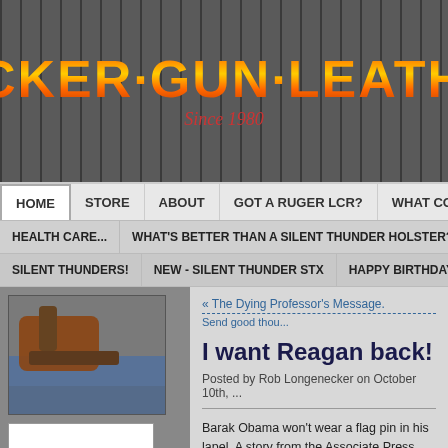[Figure (logo): Tucker Gun Leather website logo on dark wood-grain background with gradient orange-gold text and Texas flag graphic, 'Since 1980' tagline]
HOME | STORE | ABOUT | GOT A RUGER LCR? | WHAT COUNTRY DO WE LI...
HEALTH CARE... | WHAT'S BETTER THAN A SILENT THUNDER HOLSTER? - UPDAT... | SILENT THUNDERS! | NEW - SILENT THUNDER STX | HAPPY BIRTHDAY MARINES...
[Figure (photo): Photo of leather gun holster with revolver, worn on jeans belt]
Search
Categories
Ask The Holster Guy
« The Dying Professor's Message.
Send good thou...
I want Reagan back!
Posted by Rob Longenecker on October 10th, ...
Barak Obama won't wear a flag pin in his lapel. A story from the Associate Press reads:
Democratic presidential candidate Bara... said he doesn't wear the American fla...